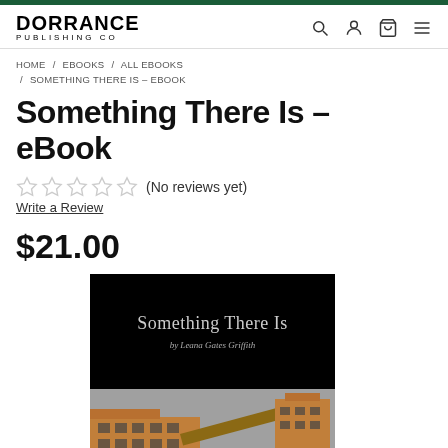DORRANCE PUBLISHING CO
HOME / EBOOKS / ALL EBOOKS / SOMETHING THERE IS – EBOOK
Something There Is – eBook
★★★★★ (No reviews yet)
Write a Review
$21.00
[Figure (photo): Book cover for 'Something There Is' by Leana Gates Griffith. Top half is black with white/gray title text. Bottom half shows an illustrated building with wooden/industrial architecture.]